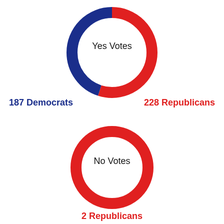[Figure (donut-chart): Yes Votes]
187 Democrats    228 Republicans
[Figure (donut-chart): No Votes]
2 Republicans